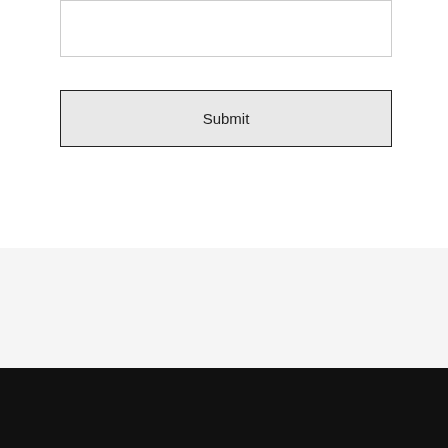[Figure (screenshot): A web form text input area (white box with border) at the top of the page]
[Figure (screenshot): A 'Submit' button with light gray background and dark border]
Updated on February 6, 2020 at 12:37 pm by Fort Worth Foundation.
Fort Worth Foundation
Address: Fort Worth, TX
Email: foundationrepairftworth@gmail.com